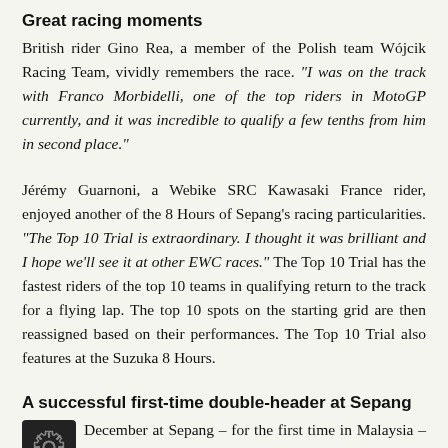Great racing moments
British rider Gino Rea, a member of the Polish team Wójcik Racing Team, vividly remembers the race. “I was on the track with Franco Morbidelli, one of the top riders in MotoGP currently, and it was incredible to qualify a few tenths from him in second place.”
Jérémy Guarnoni, a Webike SRC Kawasaki France rider, enjoyed another of the 8 Hours of Sepang’s racing particularities. “The Top 10 Trial is extraordinary. I thought it was brilliant and I hope we’ll see it at other EWC races.” The Top 10 Trial has the fastest riders of the top 10 teams in qualifying return to the track for a flying lap. The top 10 spots on the starting grid are then reassigned based on their performances. The Top 10 Trial also features at the Suzuka 8 Hours.
A successful first-time double-header at Sepang
in December at Sepang – for the first time in Malaysia – Races of Malaysia double-header successfully paired motorcycles and cars, combining the second race of the